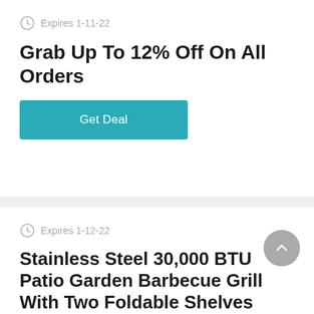Expires 1-11-22
Grab Up To 12% Off On All Orders
Get Deal
Expires 1-12-22
Stainless Steel 30,000 BTU Patio Garden Barbecue Grill With Two Foldable Shelves
Get Deal